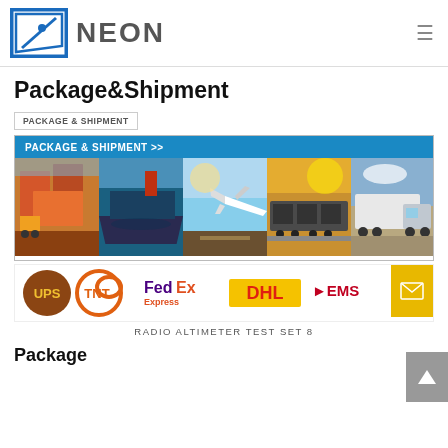NEON
Package&Shipment
PACKAGE & SHIPMENT
[Figure (infographic): Banner with blue header reading PACKAGE & SHIPMENT >> and five transport images side by side: shipping containers, cargo ship, airplane, freight train, semi truck]
[Figure (infographic): Shipping courier logos: UPS, TNT, FedEx Express, DHL, EMS]
RADIO ALTIMETER TEST SET 8
Package